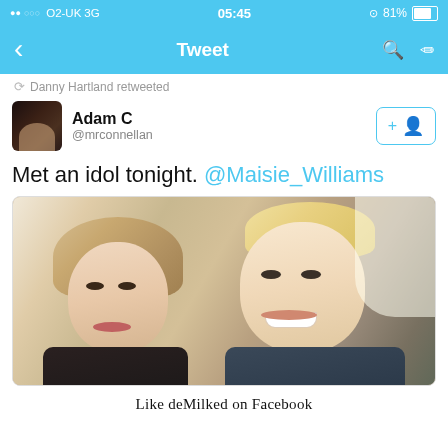[Figure (screenshot): iOS status bar showing ••ooo O2-UK 3G, time 05:45, and 81% battery indicator]
[Figure (screenshot): Twitter app navigation bar with back arrow, 'Tweet' title, search and compose icons]
Danny Hartland retweeted
Adam C @mrconnellan
[Figure (screenshot): Follow button with +person icon in Twitter style]
Met an idol tonight. @Maisie_Williams
[Figure (photo): Selfie photo of two people (a young woman with blonde hair on the left and a young blonde man on the right) smiling at the camera]
Like deMilked on Facebook